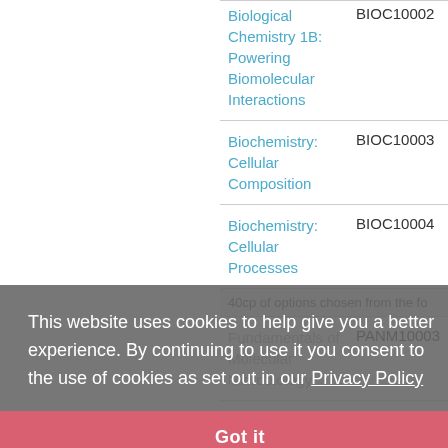| Course Name | Code |
| --- | --- |
| Biological Chemistry 1B: Powering Biomolecular Interactions | BIOC10002 |
| Biochemistry: Cellular Composition | BIOC10003 |
| Biochemistry: Cellular Processes | BIOC10004 |
| 40cp of options chosen from the following: |  |
| Fundamentals of Molecular Microbiology | PANM10003 |
| Medical Microbiology and Infectious Diseases | PANM10001 |
This website uses cookies to help give you a better experience. By continuing to use it you consent to the use of cookies as set out in our Privacy Policy
Got it